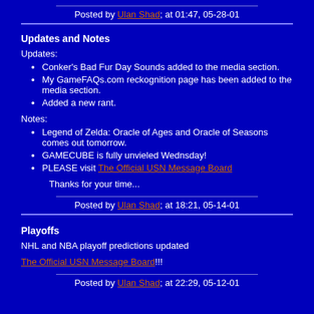Posted by Ulan Shad; at 01:47, 05-28-01
Updates and Notes
Updates:
Conker's Bad Fur Day Sounds added to the media section.
My GameFAQs.com reckognition page has been added to the media section.
Added a new rant.
Notes:
Legend of Zelda: Oracle of Ages and Oracle of Seasons comes out tomorrow.
GAMECUBE is fully unvieled Wednsday!
PLEASE visit The Official USN Message Board
Thanks for your time...
Posted by Ulan Shad; at 18:21, 05-14-01
Playoffs
NHL and NBA playoff predictions updated
The Official USN Message Board!!!
Posted by Ulan Shad; at 22:29, 05-12-01